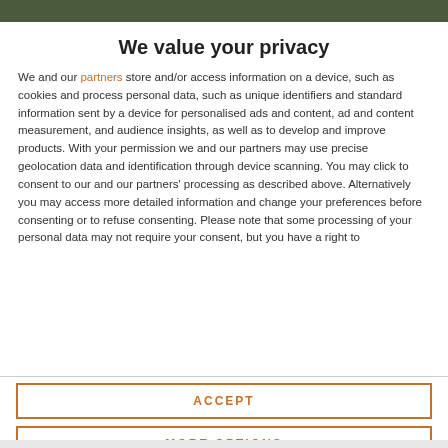[Figure (photo): Top portion of a nature/outdoor photo showing dark green foliage]
We value your privacy
We and our partners store and/or access information on a device, such as cookies and process personal data, such as unique identifiers and standard information sent by a device for personalised ads and content, ad and content measurement, and audience insights, as well as to develop and improve products. With your permission we and our partners may use precise geolocation data and identification through device scanning. You may click to consent to our and our partners' processing as described above. Alternatively you may access more detailed information and change your preferences before consenting or to refuse consenting. Please note that some processing of your personal data may not require your consent, but you have a right to
ACCEPT
MORE OPTIONS
[Figure (photo): Bottom portion of nature/outdoor photo]